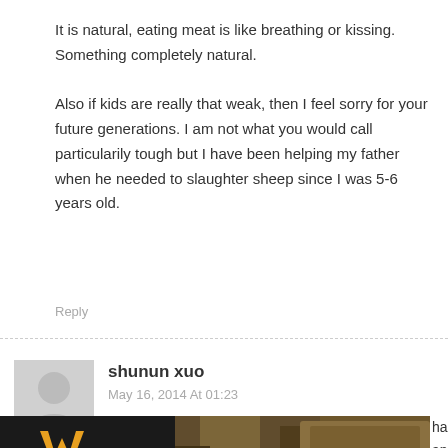It is natural, eating meat is like breathing or kissing. Something completely natural.

Also if kids are really that weak, then I feel sorry for your future generations. I am not what you would call particularily tough but I have been helping my father when he needed to slaughter sheep since I was 5-6 years old.
Reply
shunun xuo
May 16, 2014 At 01:23
[Figure (photo): Advertisement banner for VEIL CAMO featuring camouflage pattern and SHRED text]
harities, and n to them?!